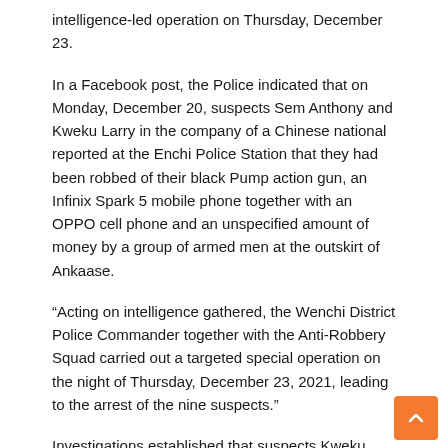intelligence-led operation on Thursday, December 23.
In a Facebook post, the Police indicated that on Monday, December 20, suspects Sem Anthony and Kweku Larry in the company of a Chinese national reported at the Enchi Police Station that they had been robbed of their black Pump action gun, an Infinix Spark 5 mobile phone together with an OPPO cell phone and an unspecified amount of money by a group of armed men at the outskirt of Ankaase.
“Acting on intelligence gathered, the Wenchi District Police Commander together with the Anti-Robbery Squad carried out a targeted special operation on the night of Thursday, December 23, 2021, leading to the arrest of the nine suspects.”
Investigations established that suspects Kweku Larry, Tahiru Fatau and Sulley Adongo are security guards at the mining firm, and suspect Sem Anthony alias Attah, the driver of the miners conspired and masterminded the robbery.
According to the Police report, a search on them led to the retrieval